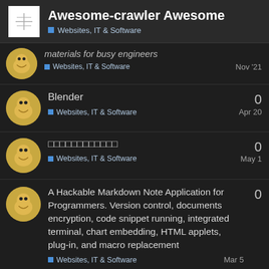Awesome-crawler Awesome — Websites, IT & Software
materials for busy engineers — Websites, IT & Software — Nov '21 — 0
Blender — Websites, IT & Software — Apr 20 — 0
□□□□□□□□□□□□ — Websites, IT & Software — May 1 — 0
A Hackable Markdown Note Application for Programmers. Version control, documents encryption, code snippet running, integrated terminal, chart embedding, HTML applets, plug-in, and macro replacement — Websites, IT & Software — Mar 5 — 0
Python Examples — Websites, IT & Software — Nov '21 — 0